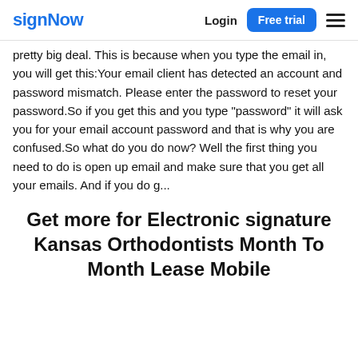signNow   Login   Free trial
pretty big deal. This is because when you type the email in, you will get this:Your email client has detected an account and password mismatch. Please enter the password to reset your password.So if you get this and you type "password" it will ask you for your email account password and that is why you are confused.So what do you do now? Well the first thing you need to do is open up email and make sure that you get all your emails. And if you do g...
Get more for Electronic signature Kansas Orthodontists Month To Month Lease Mobile